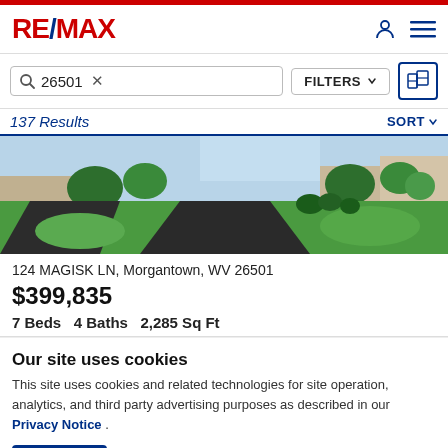[Figure (logo): RE/MAX logo in red and blue]
26501 ×
FILTERS ▾
137 Results
SORT ▾
[Figure (photo): Exterior photo of residential property showing driveway, green lawn, and landscaping]
124 MAGISK LN, Morgantown, WV 26501
$399,835
7 Beds   4 Baths   2,285 Sq Ft
Our site uses cookies
This site uses cookies and related technologies for site operation, analytics, and third party advertising purposes as described in our Privacy Notice .
ACCEPT